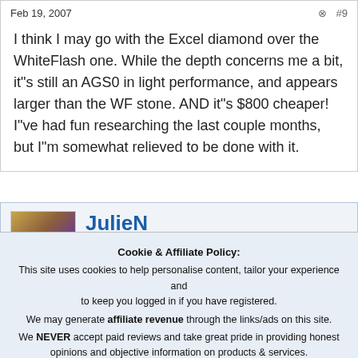Feb 19, 2007  #9
I think I may go with the Excel diamond over the WhiteFlash one. While the depth concerns me a bit, it"s still an AGS0 in light performance, and appears larger than the WF stone. AND it"s $800 cheaper! I"ve had fun researching the last couple months, but I"m somewhat relieved to be done with it.
JulieN  Super
Cookie & Affiliate Policy: This site uses cookies to help personalise content, tailor your experience and to keep you logged in if you have registered. We may generate affiliate revenue through the links/ads on this site. We NEVER accept paid reviews and take great pride in providing honest opinions and objective information on products & services. By continuing to use this site, you are consenting to our use of cookie policy.